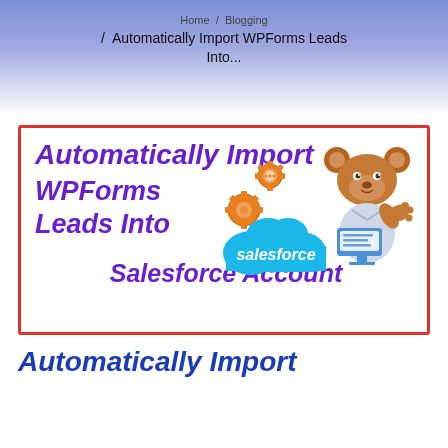Home / Blogging / Automatically Import WPForms Leads Into...
[Figure (infographic): Featured image with red border showing text 'Automatically Import WPForms Leads Into Salesforce Account' in bold italic purple font, orange gear icons, a cartoon bear mascot, and a Salesforce cloud logo.]
Automatically Import